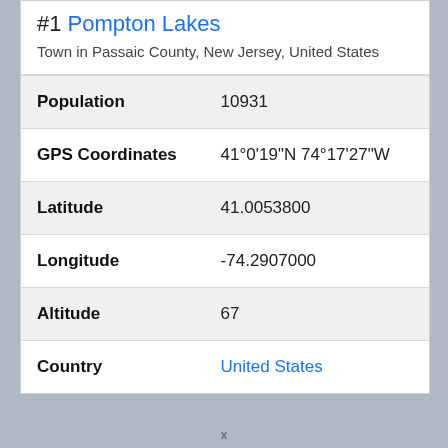#1 Pompton Lakes
Town in Passaic County, New Jersey, United States
|  |  |
| --- | --- |
| Population | 10931 |
| GPS Coordinates | 41°0'19"N 74°17'27"W |
| Latitude | 41.0053800 |
| Longitude | -74.2907000 |
| Altitude | 67 |
| Country | United States |